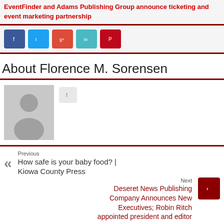EventFinder and Adams Publishing Group announce ticketing and event marketing partnership
[Figure (other): Social sharing buttons: Facebook, Twitter, Google+, LinkedIn, Pinterest]
About Florence M. Sorensen
[Figure (photo): Default grey avatar silhouette placeholder image for Florence M. Sorensen, with a small social button next to it]
Previous
How safe is your baby food? | Kiowa County Press
Next
Deseret News Publishing Company Announces New Executives; Robin Ritch appointed president and editor